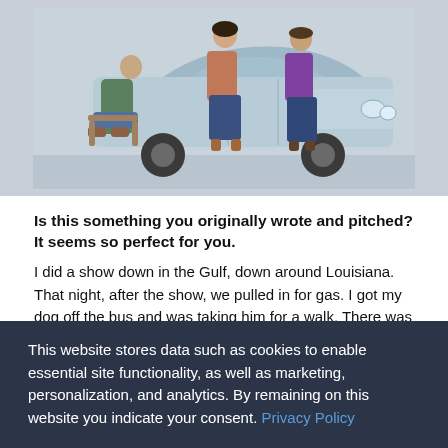[Figure (photo): Three people posing near a vintage light blue American car, with a grey/white studio background. One person is seated in a chair on the left, one stands in the middle, and one stands on the right near the car.]
Is this something you originally wrote and pitched? It seems so perfect for you.
I did a show down in the Gulf, down around Louisiana. That night, after the show, we pulled in for gas. I got my dog off the bus and was taking him for a walk. There was an old Pentecostal church right there, just falling down in front of me. Then behind it there was the Louisiana dome where Elvis did a famous concert. …. I had been asking myself how do you reinvent out
This website stores data such as cookies to enable essential site functionality, as well as marketing, personalization, and analytics. By remaining on this website you indicate your consent. Privacy Policy